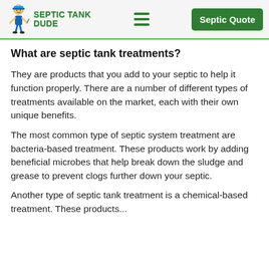Septic Tank Dude — Septic Quote
What are septic tank treatments?
They are products that you add to your septic to help it function properly. There are a number of different types of treatments available on the market, each with their own unique benefits.
The most common type of septic system treatment are bacteria-based treatment. These products work by adding beneficial microbes that help break down the sludge and grease to prevent clogs further down your septic.
Another type of septic tank treatment is a chemical-based treatment. These products...